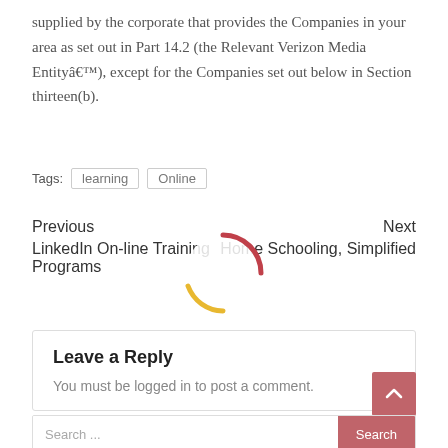supplied by the corporate that provides the Companies in your area as set out in Part 14.2 (the Relevant Verizon Media Entityâ€™), except for the Companies set out below in Section thirteen(b).
Tags: learning Online
Previous LinkedIn On-line Training Programs
Next Home Schooling, Simplified
[Figure (other): Loading spinner graphic with red and yellow arc segments on a light circular background]
Leave a Reply
You must be logged in to post a comment.
Search ...